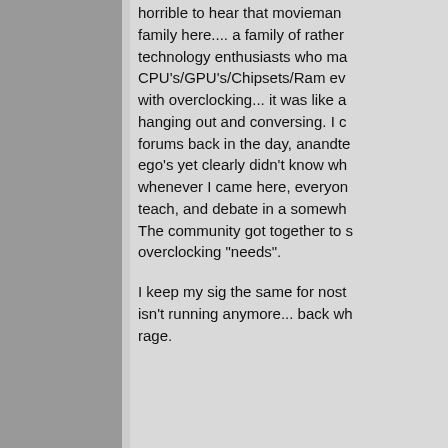horrible to hear that movieman family here.... a family of rather technology enthusiasts who ma CPU's/GPU's/Chipsets/Ram ev with overclocking... it was like a hanging out and conversing. I c forums back in the day, anandte ego's yet clearly didn't know wh whenever I came here, everyon teach, and debate in a somewh The community got together to s overclocking "needs".
I keep my sig the same for nost isn't running anymore... back wh rage.
Last edited by turbox997; 09-04-2018
-Cpu:Opteron 170 LCBQE 0722 (retired)Opteron 146 (939) CAB -Heatsink: Thermalright XP-90 -Fan:120mm Yate Loon 1650 R -Motherboard: DFI Lanparty nF